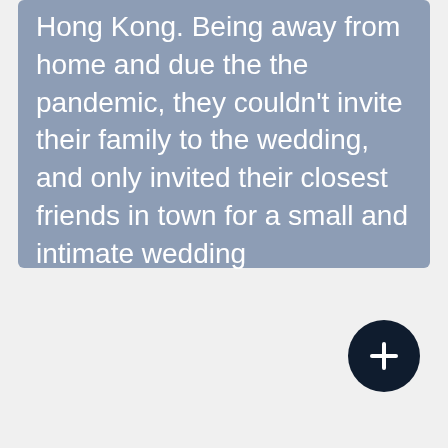Hong Kong. Being away from home and due the the pandemic, they couldn't invite their family to the wedding, and only invited their closest friends in town for a small and intimate wedding
[Figure (other): A dark navy circular button with a white plus (+) icon in the center]